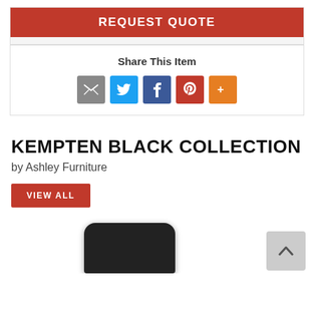REQUEST QUOTE
Share This Item
[Figure (infographic): Social share icons: email (grey), Twitter (blue), Facebook (dark blue), Pinterest (red), More (orange)]
KEMPTEN BLACK COLLECTION
by Ashley Furniture
VIEW ALL
[Figure (photo): Partial view of a black upholstered furniture piece (chair or sofa) at the bottom of the page]